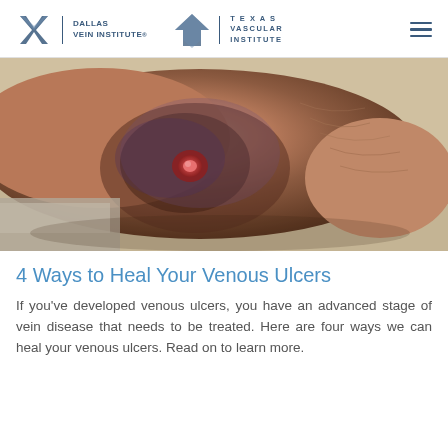Dallas Vein Institute | Texas Vascular Institute
[Figure (photo): Close-up photo of a human ankle/foot showing a venous ulcer — a dark, discolored skin area with a visible open wound/sore on the inner ankle region, resting on what appears to be a gray cloth or padding.]
4 Ways to Heal Your Venous Ulcers
If you've developed venous ulcers, you have an advanced stage of vein disease that needs to be treated. Here are four ways we can heal your venous ulcers. Read on to learn more.